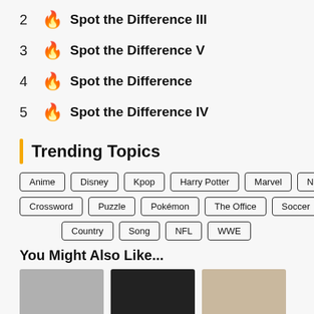2 🔥 Spot the Difference III
3 🔥 Spot the Difference V
4 🔥 Spot the Difference
5 🔥 Spot the Difference IV
Trending Topics
Anime  Disney  Kpop  Harry Potter  Marvel  NBA  Crossword  Puzzle  Pokémon  The Office  Soccer  Country  Song  NFL  WWE
You Might Also Like...
[Figure (photo): Three thumbnail images partially visible at bottom of page]